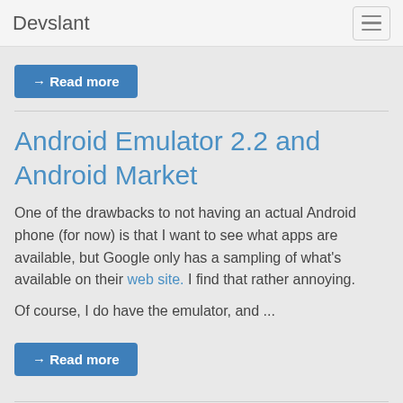Devslant
→ Read more
Android Emulator 2.2 and Android Market
One of the drawbacks to not having an actual Android phone (for now) is that I want to see what apps are available, but Google only has a sampling of what's available on their web site. I find that rather annoying.

Of course, I do have the emulator, and ...
→ Read more
Recent Po...